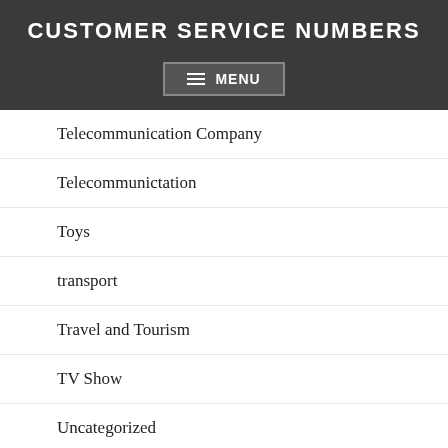CUSTOMER SERVICE NUMBERS
Telecommunication Company
Telecommunictation
Toys
transport
Travel and Tourism
TV Show
Uncategorized
University
Village
Waste management
Wedding organizer